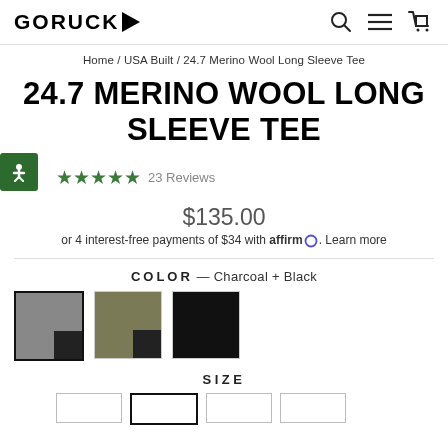GORUCK [logo with arrow] — navigation icons: search, menu, cart
Home / USA Built / 24.7 Merino Wool Long Sleeve Tee
24.7 MERINO WOOL LONG SLEEVE TEE
★★★★★ 23 Reviews
$135.00
or 4 interest-free payments of $34 with affirm. Learn more
COLOR — Charcoal + Black
[Figure (other): Three color swatches: Charcoal+Black (selected, charcoal grey with black corner), Olive+Black (olive with black corner), Black solid]
SIZE
[Figure (other): Size selection buttons partially visible at bottom]